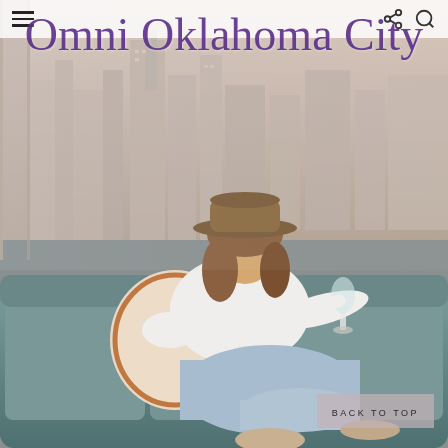Omni Oklahoma City
[Figure (photo): Woman wearing a wide-brim hat and white off-shoulder top with distressed jeans, sitting on a blue-grey sofa holding a wine glass, with a panoramic city skyline view of Oklahoma City visible through floor-to-ceiling windows behind her.]
BACK TO TOP